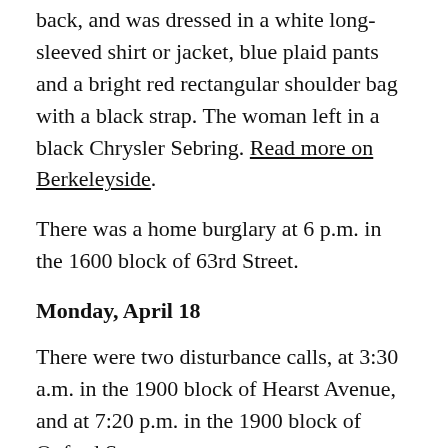back, and was dressed in a white long-sleeved shirt or jacket, blue plaid pants and a bright red rectangular shoulder bag with a black strap. The woman left in a black Chrysler Sebring. Read more on Berkeleyside.
There was a home burglary at 6 p.m. in the 1600 block of 63rd Street.
Monday, April 18
There were two disturbance calls, at 3:30 a.m. in the 1900 block of Hearst Avenue, and at 7:20 p.m. in the 1900 block of Oxford Street.
Police arrested Margarita Sobalvarro, 24, on suspicion of vehicle theft at about 8:45 a.m. Also arrested in connection with the same case, Dean